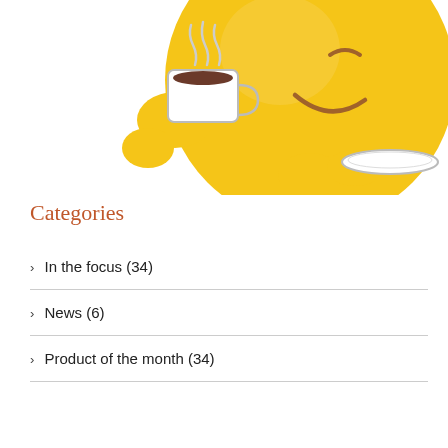[Figure (illustration): A yellow smiley face emoji holding a coffee cup with steam rising, and a saucer in the other hand, shown from a side/angled perspective against a white background.]
Categories
In the focus (34)
News (6)
Product of the month (34)